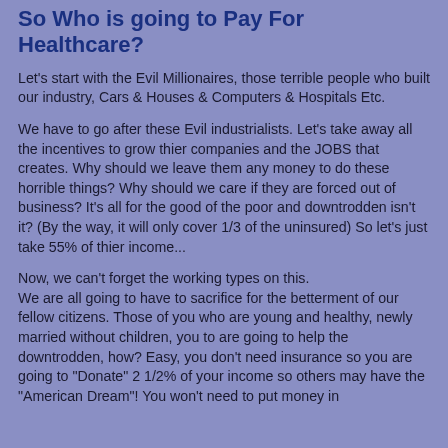So Who is going to Pay For Healthcare?
Let's start with the Evil Millionaires, those terrible people who built our industry, Cars & Houses & Computers & Hospitals Etc.
We have to go after these Evil industrialists. Let's take away all the incentives to grow thier companies and the JOBS that creates. Why should we leave them any money to do these horrible things? Why should we care if they are forced out of business? It's all for the good of the poor and downtrodden isn't it? (By the way, it will only cover 1/3 of the uninsured) So let's just take 55% of thier income...
Now, we can't forget the working types on this.
We are all going to have to sacrifice for the betterment of our fellow citizens. Those of you who are young and healthy, newly married without children, you to are going to help the downtrodden, how? Easy, you don't need insurance so you are going to "Donate" 2 1/2% of your income so others may have the "American Dream"! You won't need to put money in